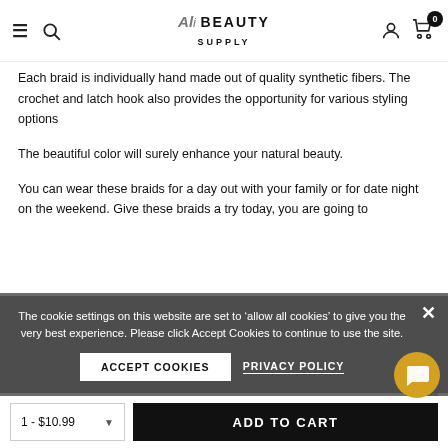Ali Beauty Supply — navigation header with hamburger, search, logo, account, cart (0)
Each braid is individually hand made out of quality synthetic fibers. The crochet and latch hook also provides the opportunity for various styling options
The beautiful color will surely enhance your natural beauty.
You can wear these braids for a day out with your family or for date night on the weekend. Give these braids a try today, you are going to enjoy wearing them.
Quality Synthetic Fiber
Designed To Fit Natural Hair
Sample Image Gallery Module
The cookie settings on this website are set to 'allow all cookies' to give you the very best experience. Please click Accept Cookies to continue to use the site.
ACCEPT COOKIES   PRIVACY POLICY
1 - $10.99   ADD TO CART